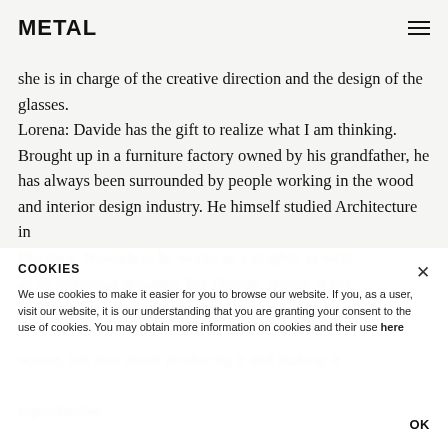METAL
she is in charge of the creative direction and the design of the glasses. Lorena: Davide has the gift to realize what I am thinking. Brought up in a furniture factory owned by his grandfather, he has always been surrounded by people working in the wood and interior design industry. He himself studied Architecture in Florence. Nowadays he works as a graphic as well as an industrial designer. For Davide, design is not just about creating an image on screen, but also about producing it and making it reproducible.
COOKIES
We use cookies to make it easier for you to browse our website. If you, as a user, visit our website, it is our understanding that you are granting your consent to the use of cookies. You may obtain more information on cookies and their use here
OK